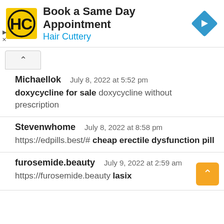[Figure (screenshot): Advertisement banner for Hair Cuttery. Yellow square logo with HC initials, text 'Book a Same Day Appointment' and 'Hair Cuttery' in blue. Blue diamond arrow icon on the right.]
Michaellok  July 8, 2022 at 5:52 pm
doxycycline for sale doxycycline without prescription
Stevenwhome  July 8, 2022 at 8:58 pm
https://edpills.best/# cheap erectile dysfunction pill
furosemide.beauty  July 9, 2022 at 2:59 am
https://furosemide.beauty lasix